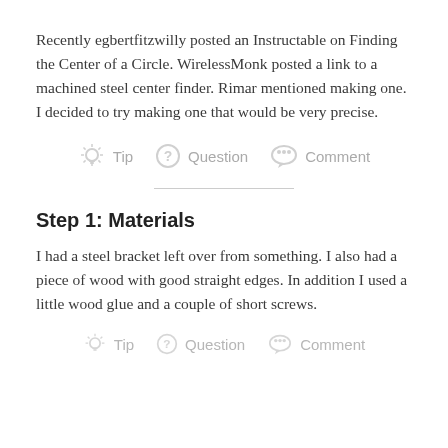Recently egbertfitzwilly posted an Instructable on Finding the Center of a Circle. WirelessMonk posted a link to a machined steel center finder. Rimar mentioned making one. I decided to try making one that would be very precise.
[Figure (infographic): Three interactive action icons: Tip (light bulb), Question (question mark circle), Comment (speech bubble)]
Step 1: Materials
I had a steel bracket left over from something. I also had a piece of wood with good straight edges. In addition I used a little wood glue and a couple of short screws.
[Figure (infographic): Three interactive action icons partially visible at bottom: Tip, Question, Comment]